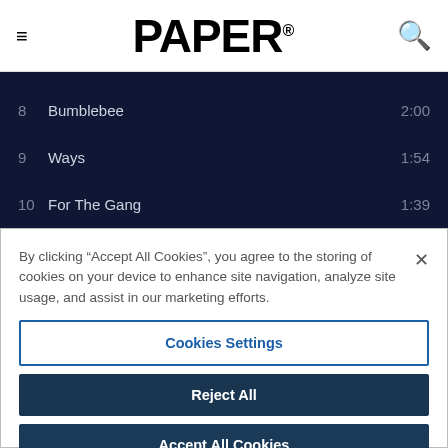PAPER
8   Bumblebee   2:00
9   Ways   1:54
10   For The Gang   1:39
11   Wokstar   1:29
By clicking “Accept All Cookies”, you agree to the storing of cookies on your device to enhance site navigation, analyze site usage, and assist in our marketing efforts.
Cookies Settings
Reject All
Accept All Cookies